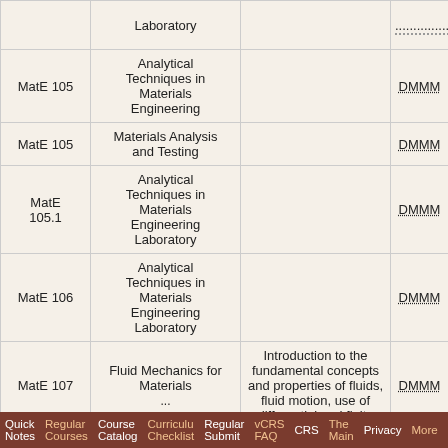| Course | Course Name | Description |  |
| --- | --- | --- | --- |
|  | Laboratory |  |  |
| MatE 105 | Analytical Techniques in Materials Engineering |  | DMMM |
| MatE 105 | Materials Analysis and Testing |  | DMMM |
| MatE 105.1 | Analytical Techniques in Materials Engineering Laboratory |  | DMMM |
| MatE 106 | Analytical Techniques in Materials Engineering Laboratory |  | DMMM |
| MatE 107 | Fluid Mechanics for Materials... | Introduction to the fundamental concepts and properties of fluids, fluid motion, use of differential and finite... | DMMM |
Quick Notes  Regular Courses  Course Catalog  Curriculu Checklist  Regular Submit  vCRS FAQ  CRS  The Main  Privacy  More